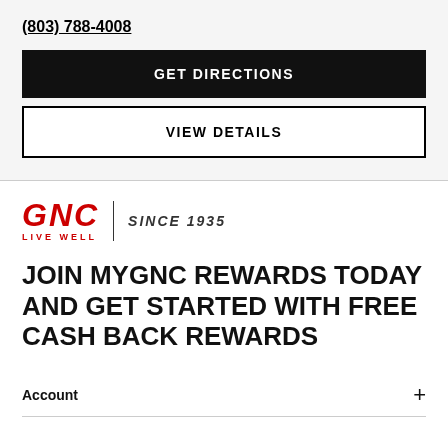(803) 788-4008
GET DIRECTIONS
VIEW DETAILS
[Figure (logo): GNC Live Well logo with 'SINCE 1935' text]
JOIN MYGNC REWARDS TODAY AND GET STARTED WITH FREE CASH BACK REWARDS
Account